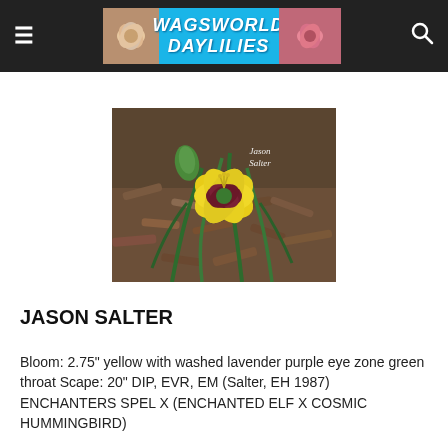WAGSWORLD DAYLILIES
[Figure (photo): Photograph of a yellow daylily with washed lavender purple eye zone and green throat, growing in a mulch bed. Watermark reads 'Jason Salter' in upper right corner.]
JASON SALTER
Bloom: 2.75" yellow with washed lavender purple eye zone green throat Scape: 20" DIP, EVR, EM (Salter, EH 1987) ENCHANTERS SPEL X (ENCHANTED ELF X COSMIC HUMMINGBIRD)